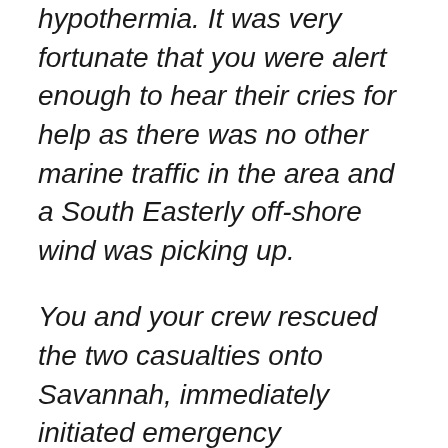hypothermia. It was very fortunate that you were alert enough to hear their cries for help as there was no other marine traffic in the area and a South Easterly off-shore wind was picking up.
You and your crew rescued the two casualties onto Savannah, immediately initiated emergency rewarming measures whilst heading back to Table Bay harbour and alerted Port Control to the situation. NSRI Station 3, Table Bay was tasked to assist and rescue boat Spirit of Day was despatched with medically trained crew. They assisted your crew to medically stabilise the two